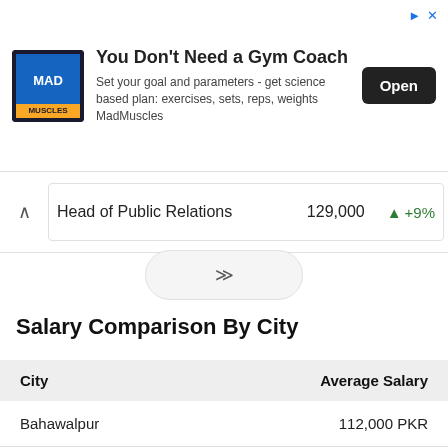[Figure (screenshot): Advertisement banner for MadMuscles app showing logo, headline 'You Don't Need a Gym Coach', descriptive text, and an Open button.]
| Head of Public Relations | 129,000 | +9% |
| --- | --- | --- |
Salary Comparison By City
| City | Average Salary |
| --- | --- |
| Bahawalpur | 112,000 PKR |
| Faisalabad | 132,000 PKR |
| Gujranwala | 127,000 PKR |
| Hyderabad | 120,000 PKR |
| Islamabad | 117,000 PKR |